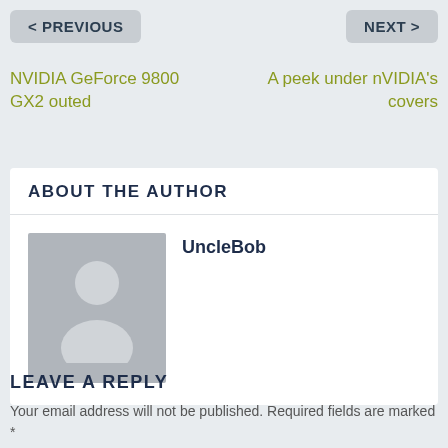< PREVIOUS
NEXT >
NVIDIA GeForce 9800 GX2 outed
A peek under nVIDIA's covers
ABOUT THE AUTHOR
[Figure (illustration): Generic user avatar placeholder — grey silhouette of a person on grey background]
UncleBob
LEAVE A REPLY
Your email address will not be published. Required fields are marked *